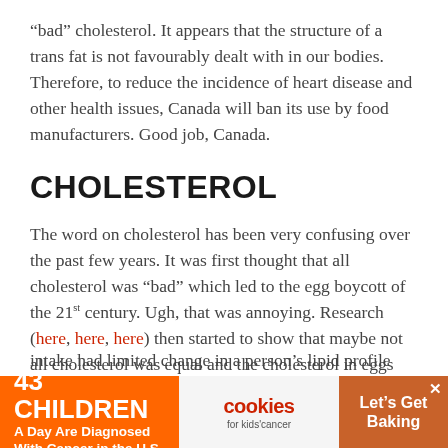“bad” cholesterol. It appears that the structure of a trans fat is not favourably dealt with in our bodies. Therefore, to reduce the incidence of heart disease and other health issues, Canada will ban its use by food manufacturers. Good job, Canada.
CHOLESTEROL
The word on cholesterol has been very confusing over the past few years. It was first thought that all cholesterol was “bad” which led to the egg boycott of the 21st century. Ugh, that was annoying. Research (here, here, here) then started to show that maybe not all cholesterol was equal and the cholesterol in eggs wasn’t to blame. In fact, some research pointed out that changes in cholesterol intake had limited change in a person’s lipid profile
[Figure (other): Advertisement banner: '43 Children A Day Are Diagnosed With Cancer in the U.S.' with Cookies for Kids Cancer logo and 'Let's Get Baking' text on orange/brown background]